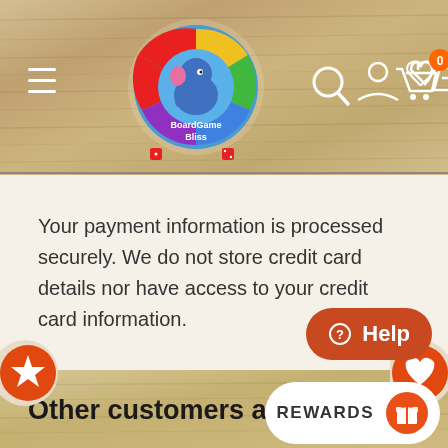[Figure (screenshot): BoardGame Bliss website header with wood texture background, hamburger menu, logo, search, account, wishlist and cart icons]
Your payment information is processed securely. We do not store credit card details nor have access to your credit card information.
[Figure (screenshot): Orange circle button with star icon on left side of product carousel]
[Figure (screenshot): Orange circle button with heart icon on right side of product carousel]
[Figure (screenshot): Orange Help button with question mark icon]
Other customers also bro
[Figure (screenshot): REWARDS button with orange gift icon]